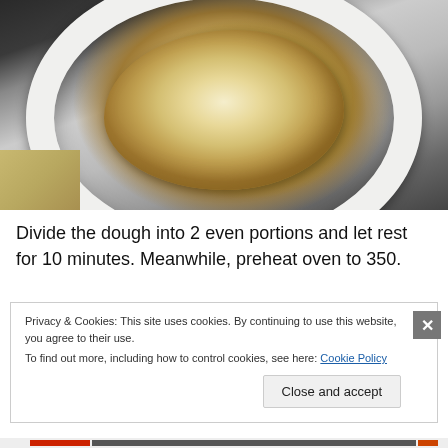[Figure (photo): A white mixing bowl containing a rough ball of pale dough, photographed from above on a kitchen counter.]
Divide the dough into 2 even portions and let rest for 10 minutes. Meanwhile, preheat oven to 350.
Privacy & Cookies: This site uses cookies. By continuing to use this website, you agree to their use.
To find out more, including how to control cookies, see here: Cookie Policy
Close and accept